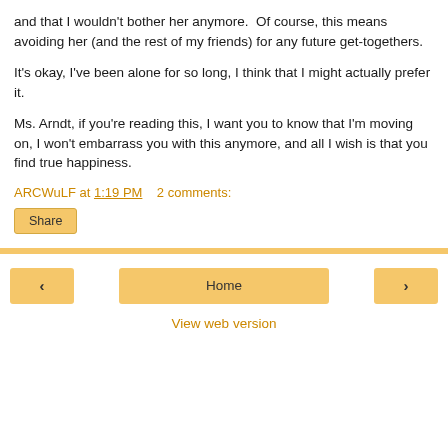and that I wouldn't bother her anymore.  Of course, this means avoiding her (and the rest of my friends) for any future get-togethers.
It's okay, I've been alone for so long, I think that I might actually prefer it.
Ms. Arndt, if you're reading this, I want you to know that I'm moving on, I won't embarrass you with this anymore, and all I wish is that you find true happiness.
ARCWuLF at 1:19 PM    2 comments:
Share
‹   Home   ›
View web version